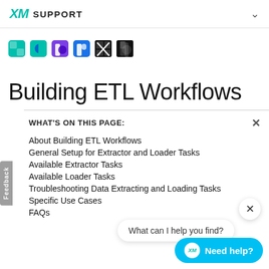XM SUPPORT
[Figure (logo): Row of colorful logo icons: teal square, teal/blue C shape, purple/blue b shape, blue P shape, black grid X, black d shape]
Building ETL Workflows
WHAT'S ON THIS PAGE:
About Building ETL Workflows
General Setup for Extractor and Loader Tasks
Available Extractor Tasks
Available Loader Tasks
Troubleshooting Data Extracting and Loading Tasks
Specific Use Cases
FAQs